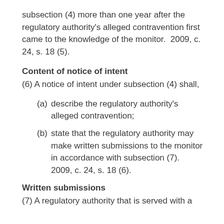subsection (4) more than one year after the regulatory authority's alleged contravention first came to the knowledge of the monitor.  2009, c. 24, s. 18 (5).
Content of notice of intent
(6) A notice of intent under subsection (4) shall,
(a) describe the regulatory authority's alleged contravention;
(b) state that the regulatory authority may make written submissions to the monitor in accordance with subsection (7).  2009, c. 24, s. 18 (6).
Written submissions
(7) A regulatory authority that is served with a